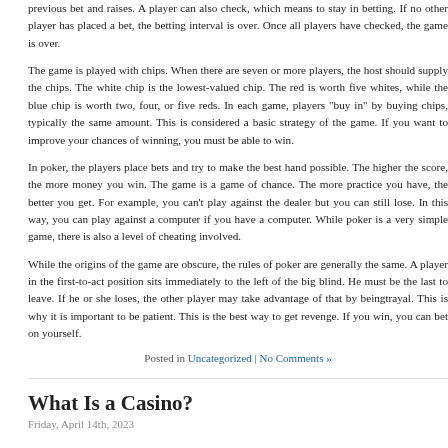previous bet and raises. A player can also check, which means to stay in betting. If no other player has placed a bet, the betting interval is over. Once all players have checked, the game is over.
The game is played with chips. When there are seven or more players, the host should supply the chips. The white chip is the lowest-valued chip. The red is worth five whites, while the blue chip is worth two, four, or five reds. In each game, players "buy in" by buying chips, typically the same amount. This is considered a basic strategy of the game. If you want to improve your chances of winning, you must be able to win.
In poker, the players place bets and try to make the best hand possible. The higher the score, the more money you win. The game is a game of chance. The more practice you have, the better you get. For example, you can't play against the dealer but you can still lose. In this way, you can play against a computer if you have a computer. While poker is a very simple game, there is also a level of cheating involved.
While the origins of the game are obscure, the rules of poker are generally the same. A player in the first-to-act position sits immediately to the left of the big blind. He must be the last to leave. If he or she loses, the other player may take advantage of that by beingtrayal. This is why it is important to be patient. This is the best way to get revenge. If you win, you can bet on yourself.
Posted in Uncategorized | No Comments »
What Is a Casino?
Friday, April 14th, 2023